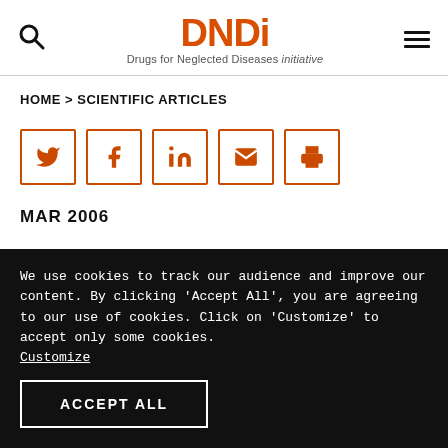DNDi - Drugs for Neglected Diseases initiative
HOME > SCIENTIFIC ARTICLES
[Figure (infographic): Row of five social media share buttons: Twitter, Facebook, LinkedIn, Email, Print — each as an orange outlined square icon]
MAR 2006
We use cookies to track our audience and improve our content. By clicking 'Accept All', you are agreeing to our use of cookies. Click on 'Customize' to accept only some cookies. Customize
ACCEPT ALL